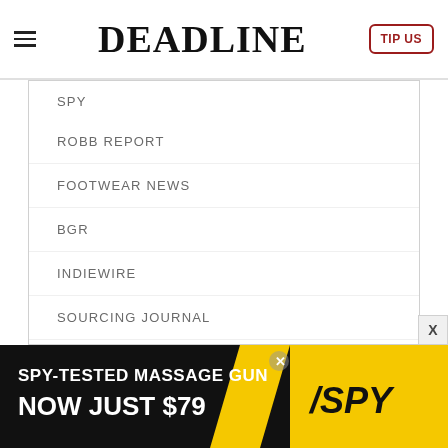DEADLINE — TIP US
SPY
ROBB REPORT
FOOTWEAR NEWS
BGR
INDIEWIRE
SOURCING JOURNAL
TVLINE
FAIRCHILD MEDIA
SHE KNOWS
[Figure (screenshot): SPY-TESTED MASSAGE GUN NOW JUST $79 advertisement banner with yellow and black design]